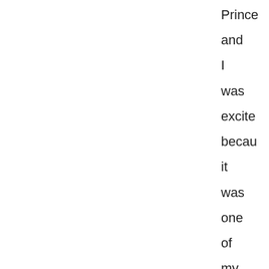Prince and I was excited because it was one of my favorite fairy tails from an old book my mom had given